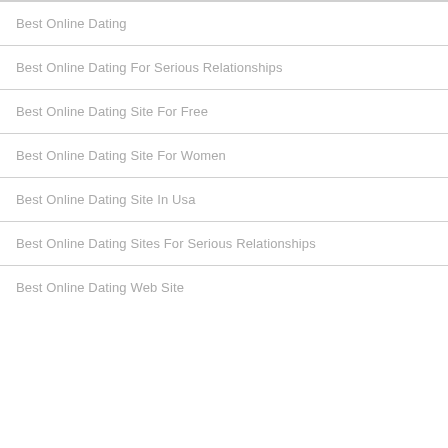Best Online Dating
Best Online Dating For Serious Relationships
Best Online Dating Site For Free
Best Online Dating Site For Women
Best Online Dating Site In Usa
Best Online Dating Sites For Serious Relationships
Best Online Dating Web Site